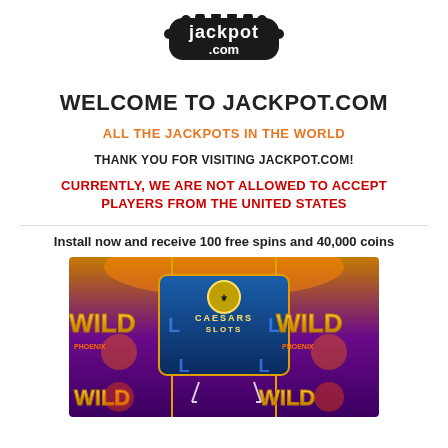[Figure (logo): Jackpot.com logo in black rounded bubble lettering]
WELCOME TO JACKPOT.COM
ALL THE JACKPOTS IN THE WORLD
THANK YOU FOR VISITING JACKPOT.COM!
CURRENTLY, WE ARE NOT ALLOWED TO ACCEPT PLAYERS FROM THE UNITED STATES
Install now and receive 100 free spins and 40,000 coins
[Figure (screenshot): Caesars Slots casino game screenshot showing WILD PHOENIX slot machine with golden flames, blue Caesars Slots logo in center, multiple WILD symbols visible]